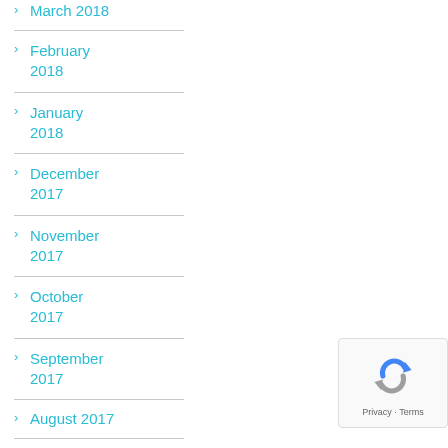March 2018
February 2018
January 2018
December 2017
November 2017
October 2017
September 2017
August 2017
July 2017
[Figure (logo): Google reCAPTCHA badge with Privacy and Terms text]